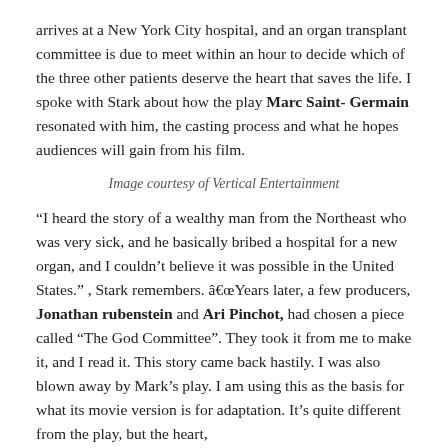arrives at a New York City hospital, and an organ transplant committee is due to meet within an hour to decide which of the three other patients deserve the heart that saves the life. I spoke with Stark about how the play Marc Saint-Germain resonated with him, the casting process and what he hopes audiences will gain from his film.
Image courtesy of Vertical Entertainment
“I heard the story of a wealthy man from the Northeast who was very sick, and he basically bribed a hospital for a new organ, and I couldn’t believe it was possible in the United States.” , Stark remembers. â€œYears later, a few producers, Jonathan rubenstein and Ari Pinchot, had chosen a piece called “The God Committee”. They took it from me to make it, and I read it. This story came back hastily. I was also blown away by Mark’s play. I am using this as the basis for what its movie version is for adaptation. It’s quite different from the play, but the heart,